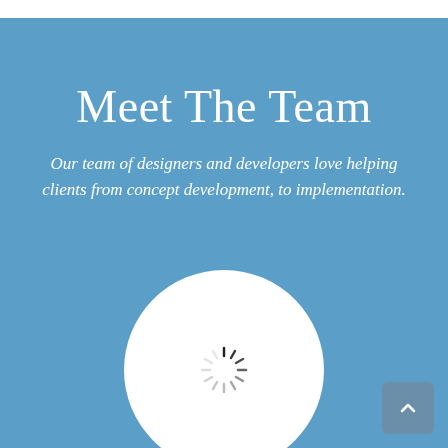Meet The Team
Our team of designers and developers love helping clients from concept development, to implementation.
[Figure (illustration): White circular avatar/person silhouette with a loading spinner icon in the center, on a blue background. The figure has a round head and partial body/torso visible at the bottom of the page.]